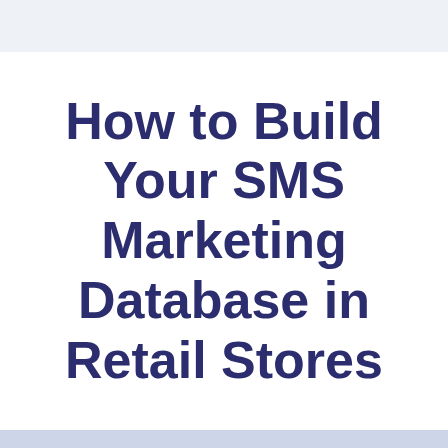How to Build Your SMS Marketing Database in Retail Stores